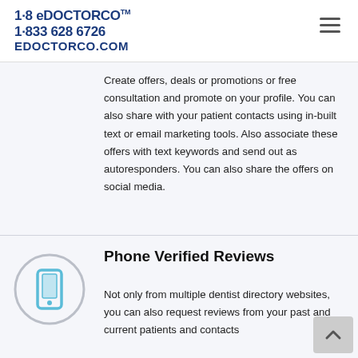1·8 eDOCTORCO™ 1·833 628 6726 EDOCTORCO.COM
Create offers, deals or promotions or free consultation and promote on your profile. You can also share with your patient contacts using in-built text or email marketing tools. Also associate these offers with text keywords and send out as autoresponders. You can also share the offers on social media.
[Figure (illustration): Circular icon with light blue mobile phone graphic on grey outline circle, representing phone verified reviews]
Phone Verified Reviews
Not only from multiple dentist directory websites, you can also request reviews from your past and current patients and contacts